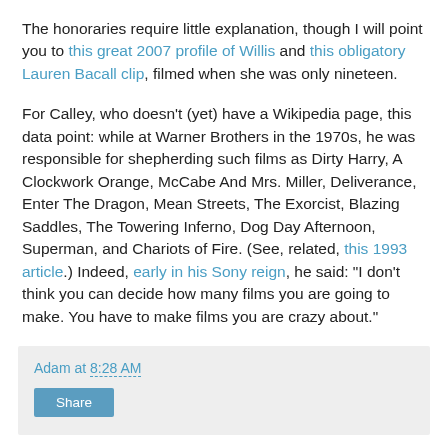The honoraries require little explanation, though I will point you to this great 2007 profile of Willis and this obligatory Lauren Bacall clip, filmed when she was only nineteen.
For Calley, who doesn't (yet) have a Wikipedia page, this data point: while at Warner Brothers in the 1970s, he was responsible for shepherding such films as Dirty Harry, A Clockwork Orange, McCabe And Mrs. Miller, Deliverance, Enter The Dragon, Mean Streets, The Exorcist, Blazing Saddles, The Towering Inferno, Dog Day Afternoon, Superman, and Chariots of Fire. (See, related, this 1993 article.) Indeed, early in his Sony reign, he said: "I don't think you can decide how many films you are going to make. You have to make films you are crazy about."
Adam at 8:28 AM
Share